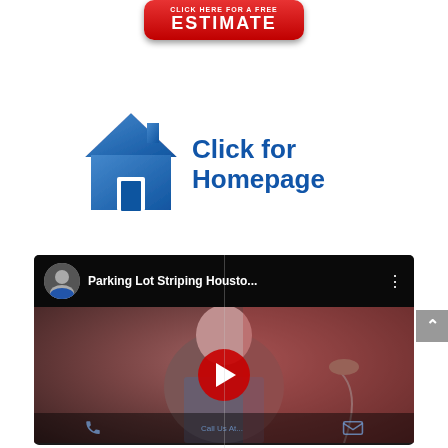[Figure (illustration): Red button with white text: 'CLICK HERE FOR A FREE ESTIMATE']
[Figure (illustration): Blue house icon with text 'Click for Homepage' in dark blue bold font]
[Figure (screenshot): YouTube video thumbnail showing 'Parking Lot Striping Housto...' with a man in a striped shirt and a red play button]
[Figure (illustration): Grey scroll-to-top arrow button on the right side]